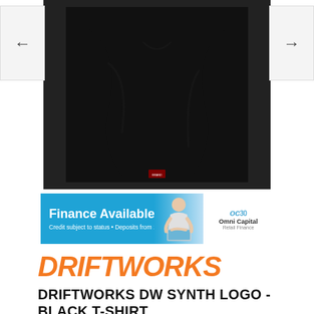[Figure (photo): Black t-shirt product photo displayed on white/dark background with left and right navigation arrows]
[Figure (photo): Finance Available banner advertisement - blue background with woman using laptop, Omni Capital Retail Finance logo on white panel. Text: 'Finance Available', 'Credit subject to status • Deposits from 10%']
DRIFTWORKS
DRIFTWORKS DW SYNTH LOGO - BLACK T-SHIRT